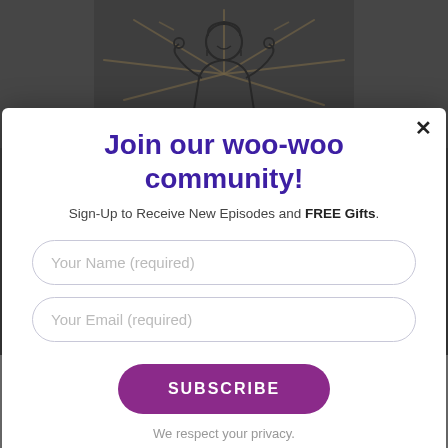[Figure (illustration): Darkened background showing a line illustration of a woman with raised hands and rays of light emanating around her, on a dark background.]
Join our woo-woo community!
Sign-Up to Receive New Episodes and FREE Gifts.
Your Name (required)
Your Email (required)
SUBSCRIBE
We respect your privacy.
10 Steps to Reignite Your Life
Posted October 26, 2021    Posted in Wellness